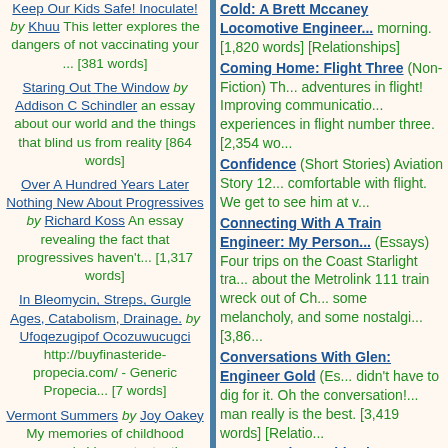Keep Our Kids Safe! Inoculate! by Khuu This letter explores the dangers of not vaccinating your ... [381 words]
Staring Out The Window by Addison C Schindler an essay about our world and the things that blind us from reality [864 words]
Over A Hundred Years Later Nothing New About Progressives by Richard Koss An essay revealing the fact that progressives haven't... [1,317 words]
In Bleomycin, Streps, Gurgle Ages, Catabolism, Drainage. by Ufoqezugipof Ocozuwucugci http://buyfinasteride-propecia.com/ - Generic Propecia... [7 words]
Vermont Summers by Joy Oakey My memories of childhood summers in Vermont, at a time when
Cold: A Brett Mccaney Locomotive Engineer... morning. [1,820 words] [Relationships]
Coming Home: Flight Three (Non-Fiction) Th... adventures in flight! Improving communication... experiences in flight number three. [2,354 wo...
Confidence (Short Stories) Aviation Story 12... comfortable with flight. We get to see him at v...
Connecting With A Train Engineer: My Person... (Essays) Four trips on the Coast Starlight tra... about the Metrolink 111 train wreck out of Ch... some melancholy, and some nostalgi... [3,86...
Conversations With Glen: Engineer Gold (Es... didn't have to dig for it. Oh the conversation!... man really is the best. [3,419 words] [Relatio...
Conversations With Glen: Engineer Of My Dr... I've talked to him, and it is, after all my strugg... engineer. Engineer of my dreams. [2,596 wor...
Conversations With Glen Sweet Engineer Dr... dream come true; life, money, marriage, and ... [Relationships]
Conversations With Glenn: A Good Day Up H... And a man admitting his flaws. What a gold m... lucky engineer. [3,566 words] [Relationships]
Conversations With Glenn: Engineer Respon... Engineers have to be responsible. he wants n... [Relationships]
Conversations With Glenn: Engineer Valentin... train. In 2009, I said he was my Christmas pr... plain... Engineer valentine? I'll take that. [4...